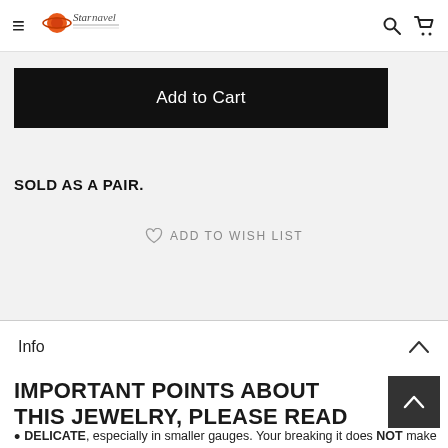StarNavel — navigation header with hamburger menu, logo, search and cart icons
Add to Cart
SOLD AS A PAIR.
ADD TO WISH LIST
Info
IMPORTANT POINTS ABOUT THIS JEWELRY, PLEASE READ
DELICATE, especially in smaller gauges. Your breaking it does NOT make it defective.